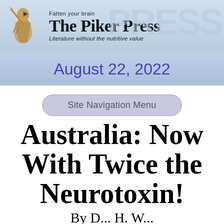Fatten your brain
The Piker Press
Literature without the nutritive value
August 22, 2022
Site Navigation Menu
Australia: Now With Twice the Neurotoxin!
By D... H. W...